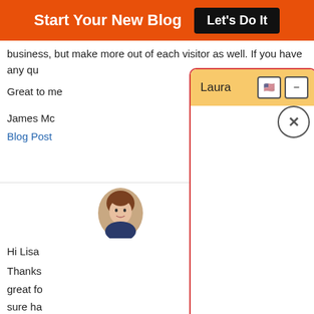Start Your New Blog  Let's Do It
business, but make more out of each visitor as well. If you have any qu
Great to me
James Mc
Blog Post
[Figure (photo): Avatar photo of a woman with short brown hair]
Hi Lisa
Thanks great fo sure ha make y
Also his business chapters will sure give you some great inspiration. As for your kids, yes, it is a great way to teach
[Figure (screenshot): Chat popup window titled 'Laura' with orange/yellow header, flag emoji button, minimize button, and X close button. The popup has a white body area. It is overlaid on the blog page content.]
Powered By Steady Stream Leads